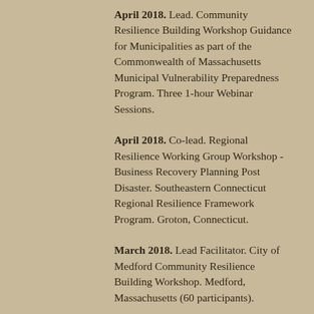April 2018. Lead. Community Resilience Building Workshop Guidance for Municipalities as part of the Commonwealth of Massachusetts Municipal Vulnerability Preparedness Program. Three 1-hour Webinar Sessions.
April 2018. Co-lead. Regional Resilience Working Group Workshop - Business Recovery Planning Post Disaster. Southeastern Connecticut Regional Resilience Framework Program. Groton, Connecticut.
March 2018. Lead Facilitator. City of Medford Community Resilience Building Workshop. Medford, Massachusetts (60 participants).
March 2018. Presenter. Increase Resilience through Campus/Community Partnerships via a Participatory Workshop Process. Society of College and University Planning, 2018 North